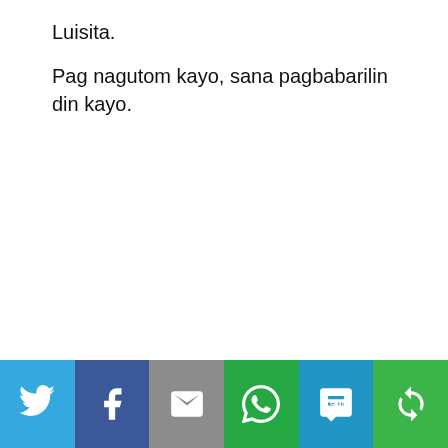Luisita.
Pag nagutom kayo, sana pagbabarilin din kayo.
[Figure (infographic): Social sharing bar with six buttons: Twitter (blue), Facebook (dark blue), Email (gray), WhatsApp (green), SMS (blue), and a share/refresh icon (green).]